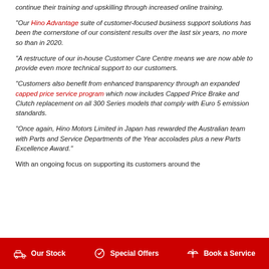continue their training and upskilling through increased online training.
“Our Hino Advantage suite of customer-focused business support solutions has been the cornerstone of our consistent results over the last six years, no more so than in 2020.
“A restructure of our in-house Customer Care Centre means we are now able to provide even more technical support to our customers.
“Customers also benefit from enhanced transparency through an expanded capped price service program which now includes Capped Price Brake and Clutch replacement on all 300 Series models that comply with Euro 5 emission standards.
“Once again, Hino Motors Limited in Japan has rewarded the Australian team with Parts and Service Departments of the Year accolades plus a new Parts Excellence Award.”
With an ongoing focus on supporting its customers around the
Our Stock   Special Offers   Book a Service